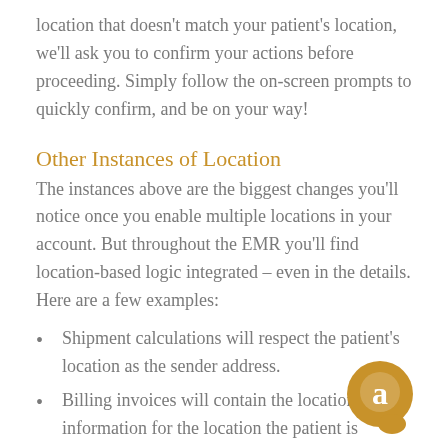location that doesn't match your patient's location, we'll ask you to confirm your actions before proceeding. Simply follow the on-screen prompts to quickly confirm, and be on your way!
Other Instances of Location
The instances above are the biggest changes you'll notice once you enable multiple locations in your account. But throughout the EMR you'll find location-based logic integrated – even in the details. Here are a few examples:
Shipment calculations will respect the patient's location as the sender address.
Billing invoices will contain the location information for the location the patient is
[Figure (logo): Circular chat/support logo in golden-brown color with a stylized 'a' speech bubble icon]